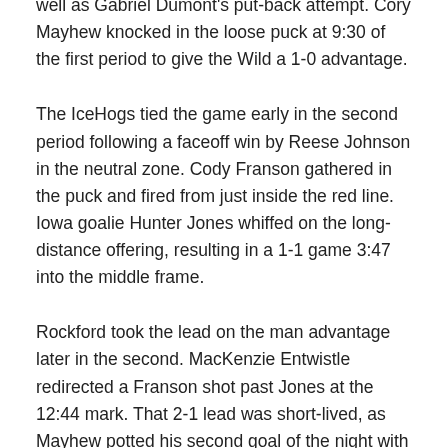well as Gabriel Dumont's put-back attempt. Cory Mayhew knocked in the loose puck at 9:30 of the first period to give the Wild a 1-0 advantage.
The IceHogs tied the game early in the second period following a faceoff win by Reese Johnson in the neutral zone. Cody Franson gathered in the puck and fired from just inside the red line. Iowa goalie Hunter Jones whiffed on the long-distance offering, resulting in a 1-1 game 3:47 into the middle frame.
Rockford took the lead on the man advantage later in the second. MacKenzie Entwistle redirected a Franson shot past Jones at the 12:44 mark. That 2-1 lead was short-lived, as Mayhew potted his second goal of the night with a wrap-around attempt. Tomkins made the initial pad save, but the puck was raked across the goal line by